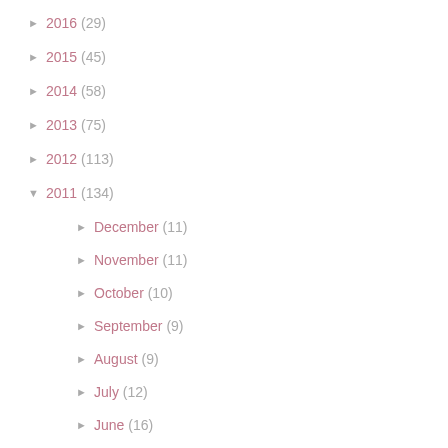► 2016 (29)
► 2015 (45)
► 2014 (58)
► 2013 (75)
► 2012 (113)
▼ 2011 (134)
► December (11)
► November (11)
► October (10)
► September (9)
► August (9)
► July (12)
► June (16)
► May (11)
► April (12)
▼ March (9)
A leopard lives in a muu tree.